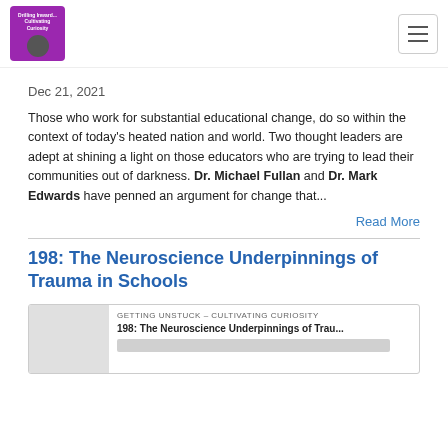Cultivating Curiosity
Dec 21, 2021
Those who work for substantial educational change, do so within the context of today's heated nation and world. Two thought leaders are adept at shining a light on those educators who are trying to lead their communities out of darkness. Dr. Michael Fullan and Dr. Mark Edwards have penned an argument for change that...
Read More
198: The Neuroscience Underpinnings of Trauma in Schools
GETTING UNSTUCK – CULTIVATING CURIOSITY
198: The Neuroscience Underpinnings of Trau...